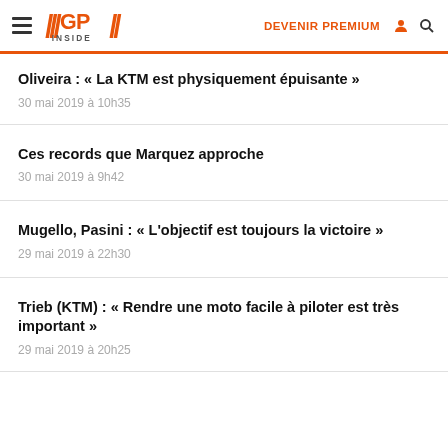GP Inside — DEVENIR PREMIUM
Oliveira : « La KTM est physiquement épuisante »
30 mai 2019 à 10h35
Ces records que Marquez approche
30 mai 2019 à 9h42
Mugello, Pasini : « L'objectif est toujours la victoire »
29 mai 2019 à 22h30
Trieb (KTM) : « Rendre une moto facile à piloter est très important »
29 mai 2019 à 20h25